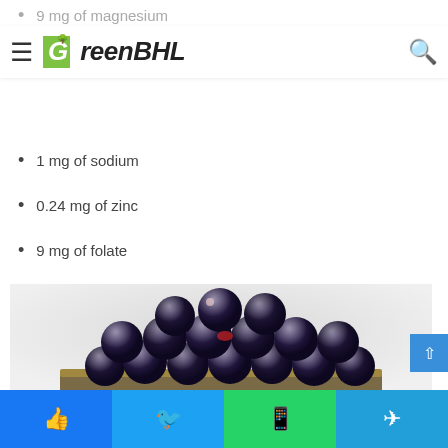GreenBHL — navigation bar with hamburger menu and search icon
9 mg of magnesium
1 mg of sodium
0.24 mg of zinc
9 mg of folate
[Figure (photo): A pile of dark blueberries in a rustic metal/tin bucket or bowl, photographed against a light grey/white background.]
Social share bar: Facebook, Twitter, WhatsApp, Telegram